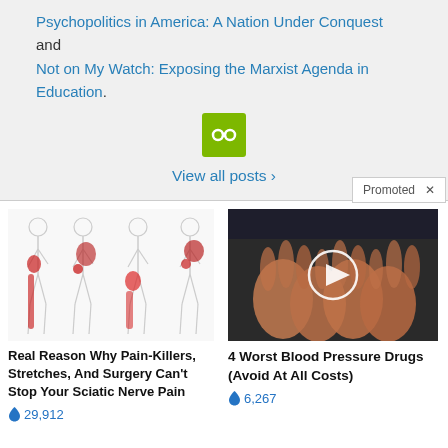Psychopolitics in America: A Nation Under Conquest and Not on My Watch: Exposing the Marxist Agenda in Education.
[Figure (other): Green icon button with chain/link symbol]
View all posts >
Promoted X
[Figure (illustration): Medical illustration showing four human body silhouettes with red highlighted areas indicating sciatic nerve pain paths along legs and hips]
Real Reason Why Pain-Killers, Stretches, And Surgery Can't Stop Your Sciatic Nerve Pain
🔥 29,912
[Figure (photo): Photo of hands (elderly) placed on a dark surface with a video play button circle overlay]
4 Worst Blood Pressure Drugs (Avoid At All Costs)
🔥 6,267